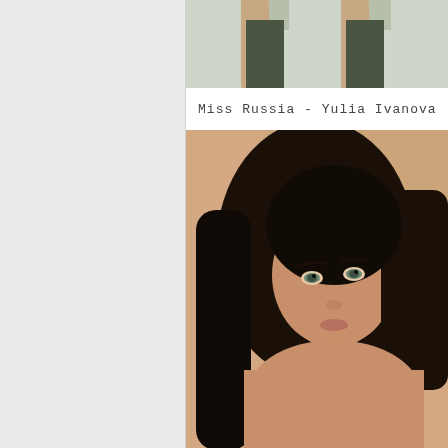[Figure (photo): Partial photo showing legs in dark boots against a light background, cropped at top]
Miss Russia - Yulia Ivanova
[Figure (photo): Portrait photo of a young woman with long dark hair, light eyes, against a beige/tan background, bare shoulders]